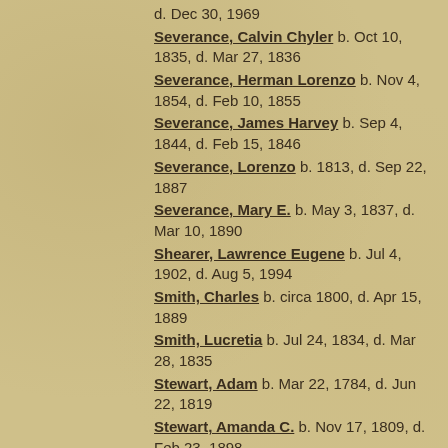d. Dec 30, 1969
Severance, Calvin Chyler b. Oct 10, 1835, d. Mar 27, 1836
Severance, Herman Lorenzo b. Nov 4, 1854, d. Feb 10, 1855
Severance, James Harvey b. Sep 4, 1844, d. Feb 15, 1846
Severance, Lorenzo b. 1813, d. Sep 22, 1887
Severance, Mary E. b. May 3, 1837, d. Mar 10, 1890
Shearer, Lawrence Eugene b. Jul 4, 1902, d. Aug 5, 1994
Smith, Charles b. circa 1800, d. Apr 15, 1889
Smith, Lucretia b. Jul 24, 1834, d. Mar 28, 1835
Stewart, Adam b. Mar 22, 1784, d. Jun 22, 1819
Stewart, Amanda C. b. Nov 17, 1809, d. Feb 23, 1898
Stewart, Catherine b. Jan 19, 1797, d. Apr 25, 1889
Stewart, Eliza b. Jan 12, 1813, d. Apr 28, 1894
Stewart, Ira b. Aug 23, 1805, d. Oct